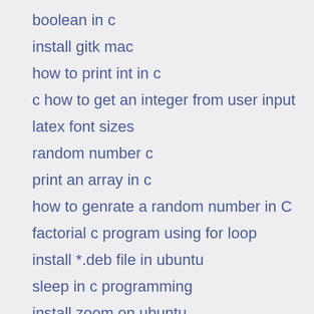boolean in c
install gitk mac
how to print int in c
c how to get an integer from user input
latex font sizes
random number c
print an array in c
how to genrate a random number in C
factorial c program using for loop
install *.deb file in ubuntu
sleep in c programming
install zoom on ubuntu
how to get user input in c
take array as input in c